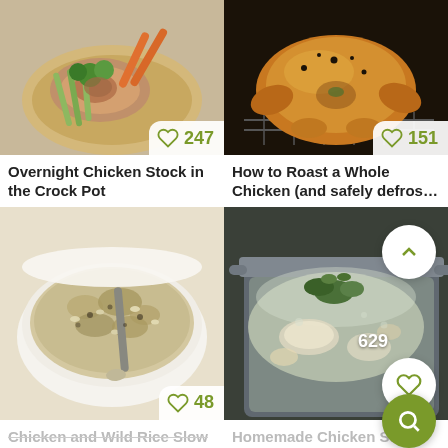[Figure (photo): Raw chicken with vegetables including carrots, celery, and herbs on a wooden cutting board]
Overnight Chicken Stock in the Crock Pot
[Figure (photo): Roasted whole golden chicken on a wire rack with black pepper seasoning]
How to Roast a Whole Chicken (and safely defros...
[Figure (photo): Bowl of creamy chicken and wild rice slow cooker soup with mushrooms and a spoon]
Chicken and Wild Rice Slow Cooker Soup
[Figure (photo): Homemade chicken stock simmering in a large silver pot with herbs and vegetables]
Homemade Chicken Stock Recipe